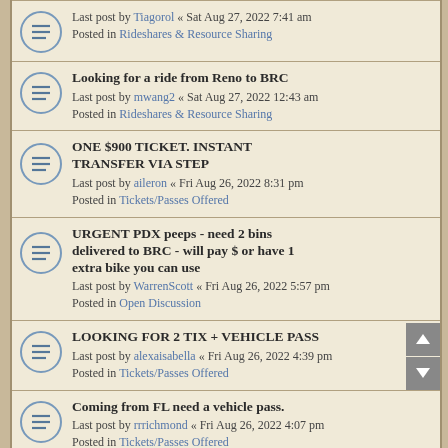Last post by Tiagorol « Sat Aug 27, 2022 7:41 am
Posted in Rideshares & Resource Sharing
Looking for a ride from Reno to BRC
Last post by mwang2 « Sat Aug 27, 2022 12:43 am
Posted in Rideshares & Resource Sharing
ONE $900 TICKET. INSTANT TRANSFER VIA STEP
Last post by aileron « Fri Aug 26, 2022 8:31 pm
Posted in Tickets/Passes Offered
URGENT PDX peeps - need 2 bins delivered to BRC - will pay $ or have 1 extra bike you can use
Last post by WarrenScott « Fri Aug 26, 2022 5:57 pm
Posted in Open Discussion
LOOKING FOR 2 TIX + VEHICLE PASS
Last post by alexaisabella « Fri Aug 26, 2022 4:39 pm
Posted in Tickets/Passes Offered
Coming from FL need a vehicle pass.
Last post by rrrichmond « Fri Aug 26, 2022 4:07 pm
Posted in Tickets/Passes Offered